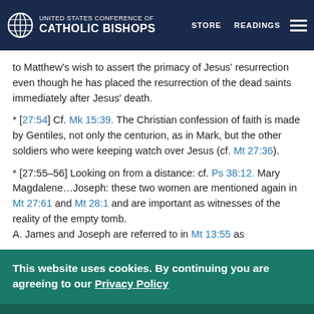United States Conference of Catholic Bishops | STORE  READINGS
to Matthew's wish to assert the primacy of Jesus' resurrection even though he has placed the resurrection of the dead saints immediately after Jesus' death.
* [27:54] Cf. Mk 15:39. The Christian confession of faith is made by Gentiles, not only the centurion, as in Mark, but the other soldiers who were keeping watch over Jesus (cf. Mt 27:36).
* [27:55–56] Looking on from a distance: cf. Ps 38:12. Mary Magdalene…Joseph: these two women are mentioned again in Mt 27:61 and Mt 28:1 and are important as witnesses of the reality of the empty tomb. A. James and Joseph are referred to in Mt 13:55 as
This website uses cookies. By continuing you are agreeing to our Privacy Policy
CLOSE  X